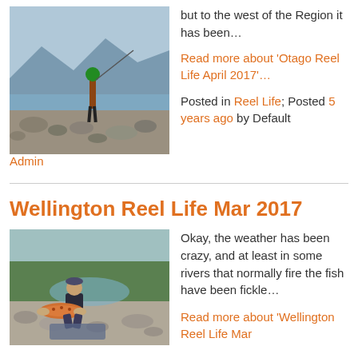[Figure (photo): Man fishing with a rod on a rocky shoreline of a lake with mountains in the background]
but to the west of the Region it has been…
Read more about 'Otago Reel Life April 2017'…
Posted in Reel Life; Posted 5 years ago by Default Admin
Wellington Reel Life Mar 2017
[Figure (photo): Man kneeling by a river holding a large brown trout, smiling at the camera]
Okay, the weather has been crazy, and at least in some rivers that normally fire the fish have been fickle…
Read more about 'Wellington Reel Life Mar